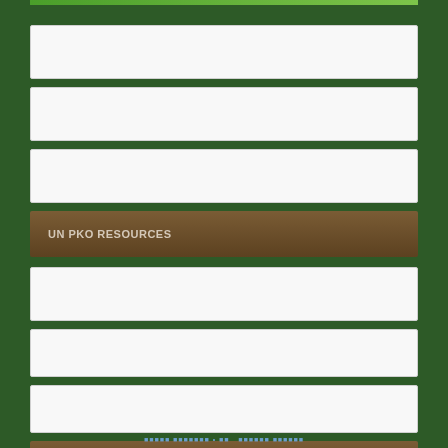[Figure (other): Green top bar banner]
UN PKO RESOURCES
RIGHTS TO INFORMATION